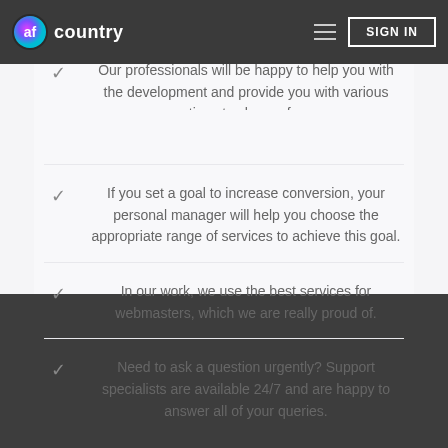country | SIGN IN
Our professionals will be happy to help you with the development and provide you with various options to choose from.
If you set a goal to increase conversion, your personal manager will help you choose the appropriate range of services to achieve this goal.
In our work, we use the best services for webmasters, which we are really proud of.
Need to ask a question urgently? Support specialists are available 24/7 and are happy to answer all of your queries.